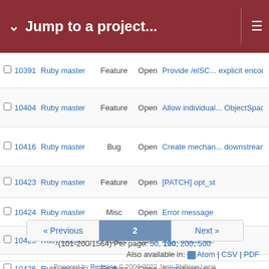Jump to a project...
|  | # | Project | Tracker | Status | Subject |
| --- | --- | --- | --- | --- | --- |
|  | 10391 | Ruby master | Feature | Open | Provide /elSC... explicit encodin... |
|  | 10404 | Ruby master | Feature | Open | Allow individual... ObjectSpace.u... |
|  | 10416 | Ruby master | Bug | Open | Create mechan... downstreams w... |
|  | 10423 | Ruby master | Feature | Open | [PATCH] opt_st... |
|  | 10424 | Ruby master | Misc | Open | Error message... |
|  | 10425 | Ruby master | Feature | Open | A predicate me... |
|  | 10426 | Ruby master | Feature | Open | A predicate to e... |
« Previous  2  Next »
(101-200/1564) Per page: 50, 100, 200, 500
Also available in: Atom | CSV | PDF
Powered by Redmine © 2006-2022 Jean-Philippe Lang